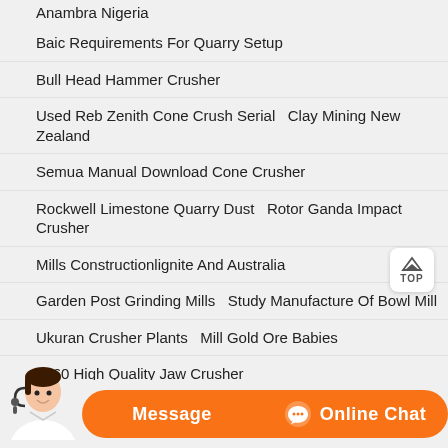Anambra Nigeria
Baic Requirements For Quarry Setup
Bull Head Hammer Crusher
Used Reb Zenith Cone Crush Serial   Clay Mining New Zealand
Semua Manual Download Cone Crusher
Rockwell Limestone Quarry Dust   Rotor Ganda Impact Crusher
Mills Constructionlignite And Australia
Garden Post Grinding Mills   Study Manufacture Of Bowl Mill
Ukuran Crusher Plants   Mill Gold Ore Babies
1060 High Quality Jaw Crusher
Economical Operation Impact Crusher
Green Production Of Mobile Crusher   Jigging Mineral Machine
Kiln Ball Mill Crusher   Terrazzo Crusher And Prices